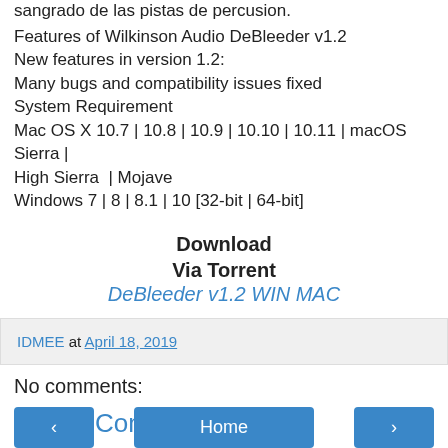sangrado de las pistas de percusion.
Features of Wilkinson Audio DeBleeder v1.2
New features in version 1.2:
Many bugs and compatibility issues fixed
System Requirement
Mac OS X 10.7 | 10.8 | 10.9 | 10.10 | 10.11 | macOS Sierra | High Sierra | Mojave
Windows 7 | 8 | 8.1 | 10 [32-bit | 64-bit]
Download
Via Torrent
DeBleeder v1.2 WIN MAC
IDMEE at April 18, 2019
No comments:
Post a Comment